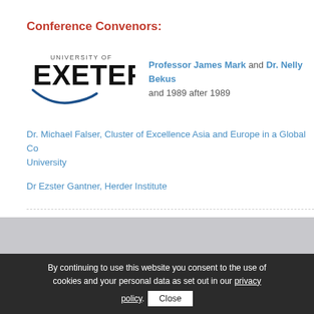Conference Convenors:
[Figure (logo): University of Exeter logo]
Professor James Mark and Dr. Nelly Bekus and 1989 after 1989
Dr. Michael Falser, Cluster of Excellence Asia and Europe in a Global Co... University
Dr Ezster Gantner, Herder Institute
By continuing to use this website you consent to the use of cookies and your personal data as set out in our privacy policy.
Close